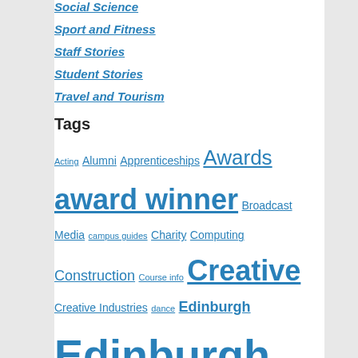Social Science
Sport and Fitness
Staff Stories
Student Stories
Travel and Tourism
Tags
Acting Alumni Apprenticeships Awards award winner Broadcast Media campus guides Charity Computing Construction Course info Creative Creative Industries dance Edinburgh Edinburgh College engineering favourite Football Foundation Apprenticeships Glow Graduation